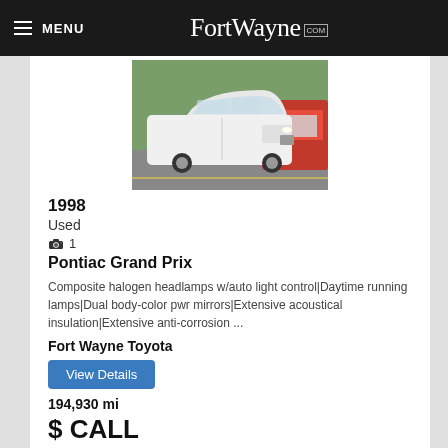MENU | FortWayne.com
[Figure (photo): Photo of a white 1998 Pontiac Grand Prix coupe parked in a lot, with a red car visible in the background and trees behind.]
1998
Used
📷 1
Pontiac Grand Prix
Composite halogen headlamps w/auto light control|Daytime running lamps|Dual body-color pwr mirrors|Extensive acoustical insulation|Extensive anti-corrosion ...
Fort Wayne Toyota
View Details
194,930 mi
$ CALL